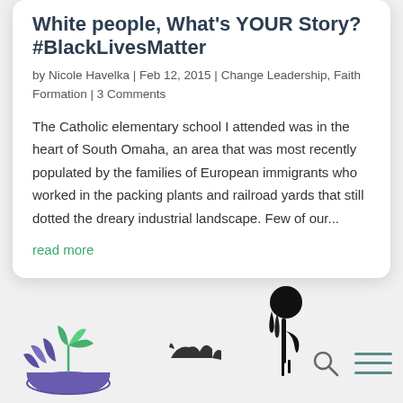White people, What's YOUR Story? #BlackLivesMatter
by Nicole Havelka | Feb 12, 2015 | Change Leadership, Faith Formation | 3 Comments
The Catholic elementary school I attended was in the heart of South Omaha, an area that was most recently populated by the families of European immigrants who worked in the packing plants and railroad yards that still dotted the dreary industrial landscape. Few of our...
read more
[Figure (logo): Plant sprouting from a bowl logo in purple and green]
[Figure (illustration): Silhouette figures - small animal shapes and a tall dripping figure]
[Figure (other): Search icon (magnifying glass)]
[Figure (other): Hamburger menu icon (three horizontal lines)]